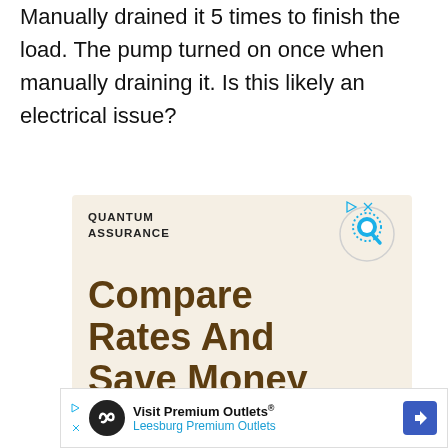Manually drained it 5 times to finish the load. The pump turned on once when manually draining it. Is this likely an electrical issue?
[Figure (other): Advertisement for Quantum Assurance insurance. Cream/beige background. Shows 'QUANTUM ASSURANCE' brand name with a blue circular Q logo. Large brown text reads 'Compare Rates And Save Money'. Subtext reads 'Helping Small Businesses'. Ad control icons (play and X) in top right corner.]
[Figure (other): Bottom banner advertisement for Visit Premium Outlets / Leesburg Premium Outlets. Shows infinity loop icon on black circle, blue navigation arrow icon on right, and ad control icons on left.]